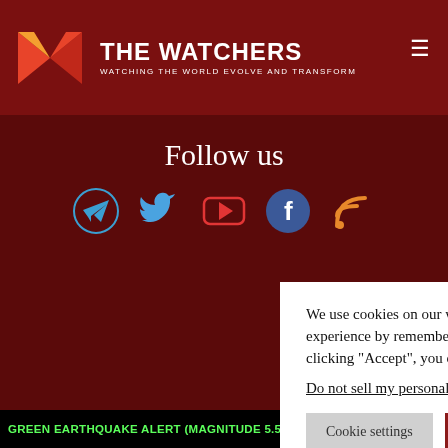THE WATCHERS — WATCHING THE WORLD EVOLVE AND TRANSFORM
Follow us
[Figure (infographic): Social media icons: Telegram (blue paper plane), Twitter (blue bird), YouTube (red play button), Facebook (blue circle with f), RSS (orange wifi-style icon)]
We use cookies on our website to give you the most relevant experience by remembering your preferences and repeat visits. By clicking "Accept", you consent to the use of ALL the cookies.
Do not sell my personal information.
The Watchers
Except where otherwise noted, content on this site is licensed under a Creative
GREEN EARTHQUAKE ALERT (MAGNITUDE 5.5M, DEPTH:10KM